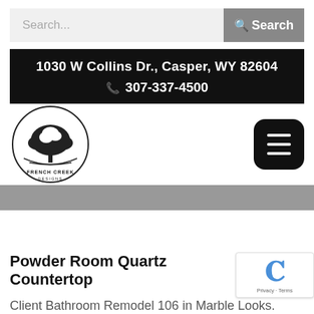Search...
1030 W Collins Dr., Casper, WY 82604
307-337-4500
[Figure (logo): French Creek Designs circular logo with tree illustration]
Powder Room Quartz Countertop
Client Bathroom Remodel 106 in Marble Looks. Marble look quartz countertops add timeless sophistication to this powder room